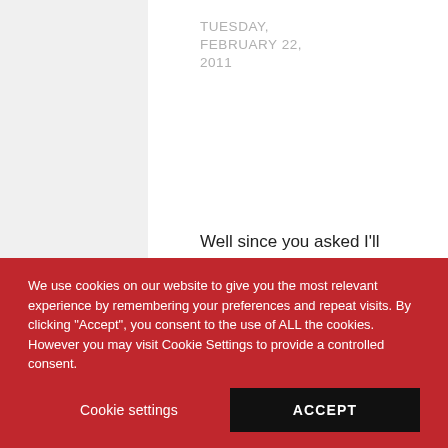TUESDAY, FEBRUARY 22, 2011
Well since you asked I'll share my anecdote. Exercising makes me extremely hungry in
We use cookies on our website to give you the most relevant experience by remembering your preferences and repeat visits. By clicking "Accept", you consent to the use of ALL the cookies. However you may visit Cookie Settings to provide a controlled consent.
Cookie settings
ACCEPT